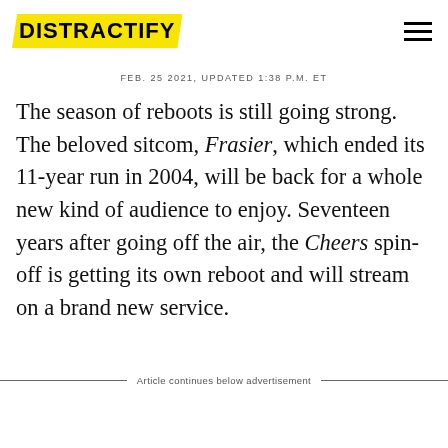DISTRACTIFY
FEB. 25 2021, UPDATED 1:38 P.M. ET
The season of reboots is still going strong. The beloved sitcom, Frasier, which ended its 11-year run in 2004, will be back for a whole new kind of audience to enjoy. Seventeen years after going off the air, the Cheers spin-off is getting its own reboot and will stream on a brand new service.
Article continues below advertisement